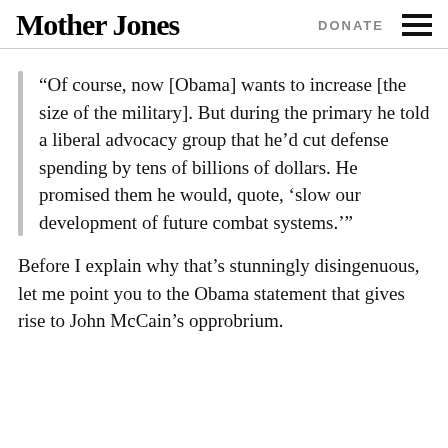Mother Jones | DONATE
“Of course, now [Obama] wants to increase [the size of the military]. But during the primary he told a liberal advocacy group that he’d cut defense spending by tens of billions of dollars. He promised them he would, quote, ‘slow our development of future combat systems.’”
Before I explain why that’s stunningly disingenuous, let me point you to the Obama statement that gives rise to John McCain’s opprobrium.